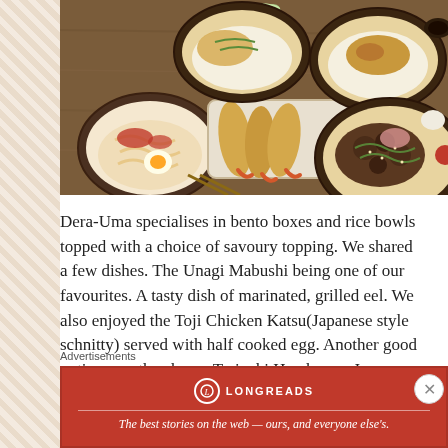[Figure (photo): Overhead view of a Japanese restaurant spread including tempura shrimp, bowls of udon noodles, rice bowls with various toppings, and a green drink on a wooden table.]
Dera-Uma specialises in bento boxes and rice bowls topped with a choice of savoury topping. We shared a few dishes. The Unagi Mabushi being one of our favourites. A tasty dish of marinated, grilled eel. We also enjoyed the Toji Chicken Katsu(Japanese style schnitty) served with half cooked egg. Another good option was the cheese Teriyaki Hamburg a Japanese style hamburger patty, a slice of
Advertisements
[Figure (other): Longreads advertisement banner with red background. Shows Longreads logo and tagline: The best stories on the web — ours, and everyone else's.]